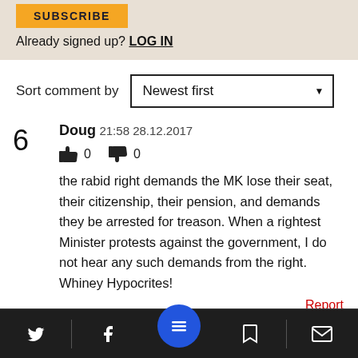[Figure (screenshot): Orange Subscribe button (partially visible, cropped at top)]
Already signed up? LOG IN
Sort comment by  Newest first ▼
6  Doug  21:58 28.12.2017
👍 0  👎 0
the rabid right demands the MK lose their seat, their citizenship, their pension, and demands they be arrested for treason. When a rightest Minister protests against the government, I do not hear any such demands from the right. Whiney Hypocrites!
Report